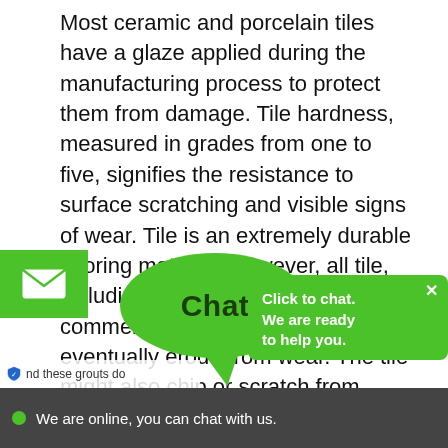Most ceramic and porcelain tiles have a glaze applied during the manufacturing process to protect them from damage. Tile hardness, measured in grades from one to five, signifies the resistance to surface scratching and visible signs of wear. Tile is an extremely durable flooring material. However, all tile, including tile designed for commercial installation, can eventually erode from wear. The tile might also chip or scratch from impact. In either case, the damage leaves your tile susceptible to stains.
Grouts made from cement are porous. If they haven't been properly sealed, th... ed fluids, leading t... growth of mildew. Other g... nd these grouts do...
[Figure (screenshot): Live chat widget overlay with green chat bubble showing 'Chat', a green panel on the right saying 'Click to chat. We are ready to help you.' with an X close button, an email icon button on the left, a privacy bar at bottom left, and a dark bottom bar reading 'We are online, you can chat with us.' with a green dot.]